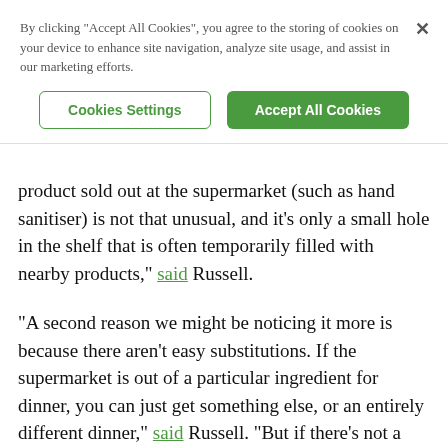By clicking “Accept All Cookies”, you agree to the storing of cookies on your device to enhance site navigation, analyze site usage, and assist in our marketing efforts.
Cookies Settings | Accept All Cookies
product sold out at the supermarket (such as hand sanitiser) is not that unusual, and it’s only a small hole in the shelf that is often temporarily filled with nearby products,” said Russell.
"A second reason we might be noticing it more is because there aren't easy substitutions. If the supermarket is out of a particular ingredient for dinner, you can just get something else, or an entirely different dinner," said Russell. "But if there’s not a roll of toilet paper, then that’s pretty frustrating